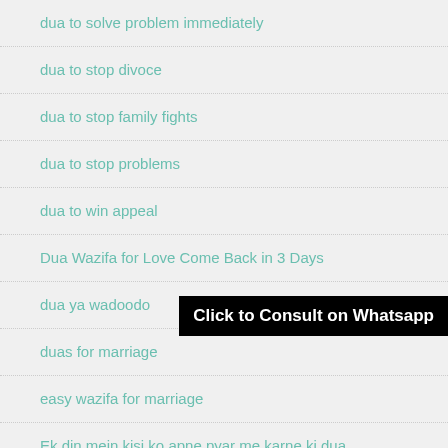dua to solve problem immediately
dua to stop divoce
dua to stop family fights
dua to stop problems
dua to win appeal
Dua Wazifa for Love Come Back in 3 Days
dua ya wadoodo
duas for marriage
easy wazifa for marriage
Ek din mein kisi ko apne pyar me karne ki dua
[Figure (other): Black banner overlay reading 'Click to Consult on Whatsapp']